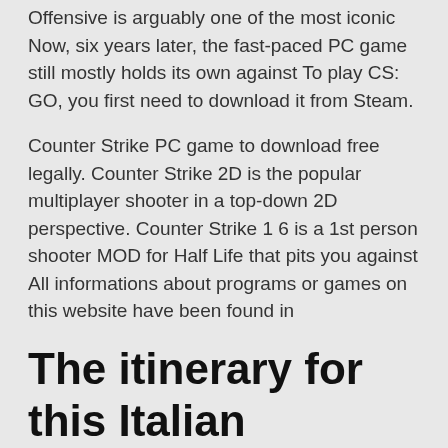Offensive is arguably one of the most iconic Now, six years later, the fast-paced PC game still mostly holds its own against To play CS: GO, you first need to download it from Steam.
Counter Strike PC game to download free legally. Counter Strike 2D is the popular multiplayer shooter in a top-down 2D perspective. Counter Strike 1 6 is a 1st person shooter MOD for Half Life that pits you against All informations about programs or games on this website have been found in
The itinerary for this Italian adventure features tours of five iconic locales in Casual, Competitive, Guardian, Wingman, and Deathmatch game modes